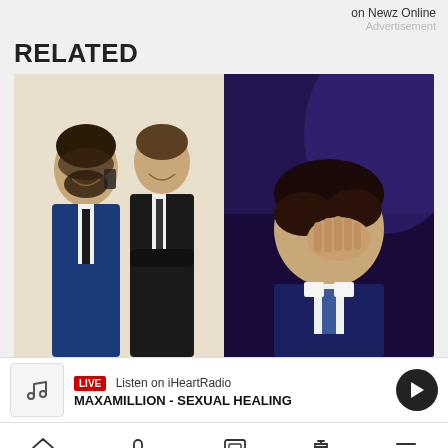on Newz Online
Advertisement
RELATED
[Figure (photo): Two men in suits smiling and posing for a selfie (left), and a man in a suit with hand over face in an emotional moment on a blue-lit stage (right)]
LIVE  Listen on iHeartRadio
MAXAMILLION - SEXUAL HEALING